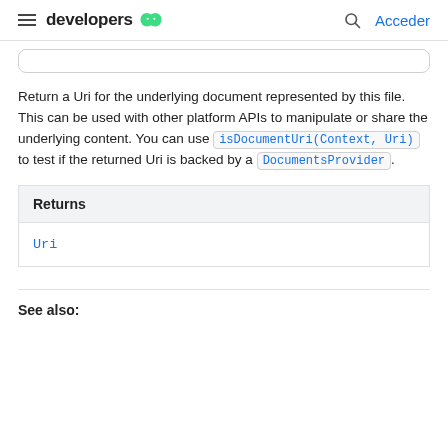developers  Acceder
Return a Uri for the underlying document represented by this file. This can be used with other platform APIs to manipulate or share the underlying content. You can use isDocumentUri(Context, Uri) to test if the returned Uri is backed by a DocumentsProvider.
| Returns |
| --- |
| Uri |
See also: